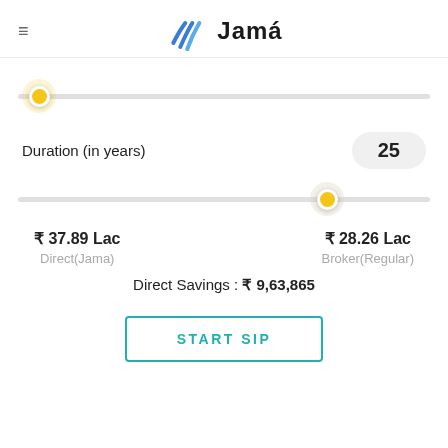Jama
[Figure (infographic): A slider UI element with a yellow circular thumb positioned at the far left of a horizontal gray track.]
Duration (in years)   25
[Figure (infographic): A slider UI element with a yellow circular thumb positioned about 75% along a horizontal gray track.]
₹ 37.89 Lac
Direct(Jama)
₹ 28.26 Lac
Broker(Regular)
Direct Savings : ₹ 9,63,865
START SIP